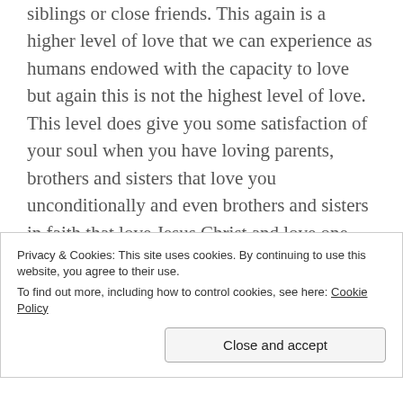siblings or close friends. This again is a higher level of love that we can experience as humans endowed with the capacity to love but again this is not the highest level of love. This level does give you some satisfaction of your soul when you have loving parents, brothers and sisters that love you unconditionally and even brothers and sisters in faith that love Jesus Christ and love one another.
3rd level is “Agape” and this level of love is unexplainable. This level of love can
Privacy & Cookies: This site uses cookies. By continuing to use this website, you agree to their use.
To find out more, including how to control cookies, see here: Cookie Policy